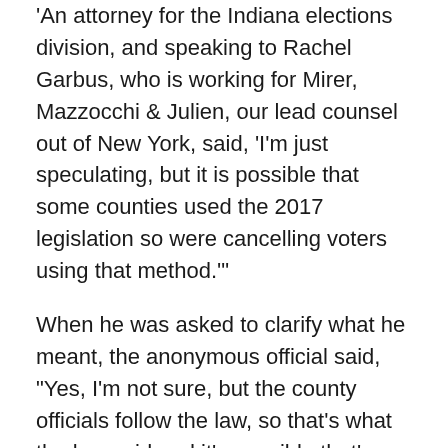An attorney for the Indiana elections division, and speaking to Rachel Garbus, who is working for Mirer, Mazzocchi & Julien, our lead counsel out of New York, said, 'I'm just speculating, but it is possible that some counties used the 2017 legislation so were cancelling voters using that method.'
When he was asked to clarify what he meant, the anonymous official said, "Yes, I'm not sure, but the county officials follow the law, so that's what the law said and it's possible that's what they were doing."
To be clear: Although at least 20,000 Indiana voters appear to have been removed from the rolls illegally, the number of Indiana voters who won't be able to vote is actually much, much higher.